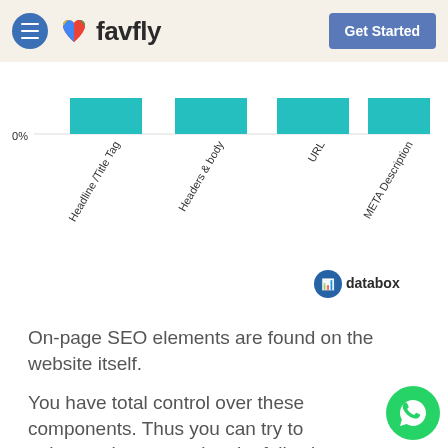favfly | Get Started
[Figure (bar-chart): Keyword Placement Importance]
databox
On-page SEO elements are found on the website itself.
You have total control over these components. Thus you can try to enhance them over time by following SEO best practices.